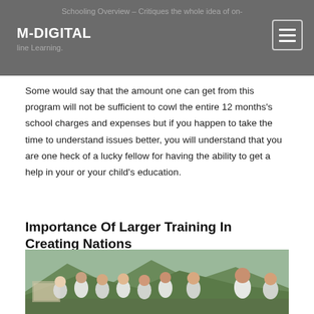Schooling Overview – Critiques the whole idea of on-line Learning. M-DIGITAL
Some would say that the amount one can get from this program will not be sufficient to cowl the entire 12 months's school charges and expenses but if you happen to take the time to understand issues better, you will understand that you are one heck of a lucky fellow for having the ability to get a help in your or your child's education.
Importance Of Larger Training In Creating Nations
[Figure (photo): Group of students in school uniforms standing outdoors with mountains and a building in the background]